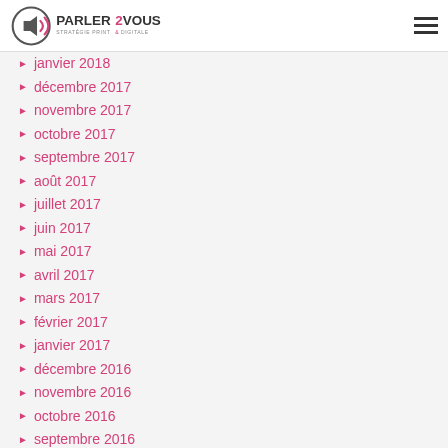PARLER2VOUS — Stratégie Print & Digitale
janvier 2018
décembre 2017
novembre 2017
octobre 2017
septembre 2017
août 2017
juillet 2017
juin 2017
mai 2017
avril 2017
mars 2017
février 2017
janvier 2017
décembre 2016
novembre 2016
octobre 2016
septembre 2016
août 2016
juillet 2016
juin 2016